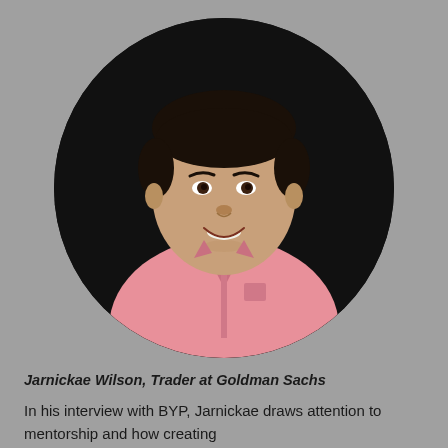[Figure (photo): Circular cropped headshot of a young man smiling, wearing a pink button-up shirt, against a dark background.]
Jarnickae Wilson, Trader at Goldman Sachs
In his interview with BYP, Jarnickae draws attention to mentorship and how creating